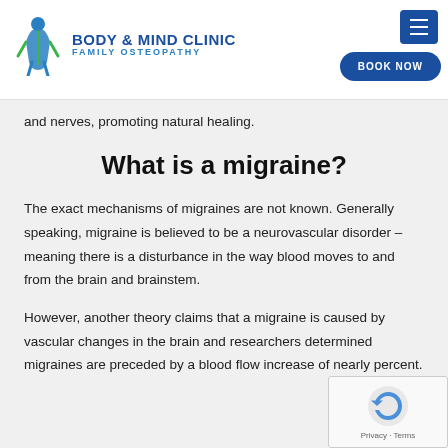[Figure (logo): Body & Mind Clinic Family Osteopathy logo with human figure icon and blue text]
and nerves, promoting natural healing.
What is a migraine?
The exact mechanisms of migraines are not known. Generally speaking, migraine is believed to be a neurovascular disorder – meaning there is a disturbance in the way blood moves to and from the brain and brainstem.
However, another theory claims that a migraine is caused by vascular changes in the brain and researchers determined migraines are preceded by a blood flow increase of nearly percent.